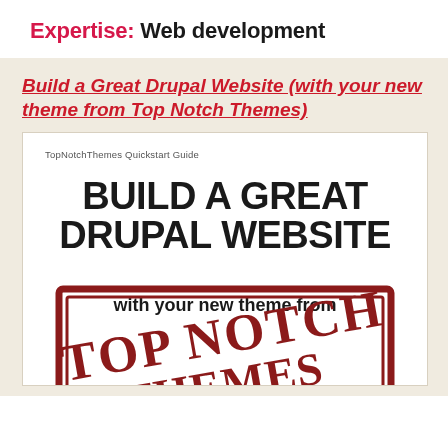Expertise: Web development
Build a Great Drupal Website (with your new theme from Top Notch Themes)
[Figure (illustration): Book cover of TopNotchThemes Quickstart Guide titled BUILD A GREAT DRUPAL WEBSITE with your new theme from Top Notch Themes stamp logo]